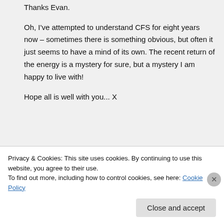Thanks Evan.
Oh, I've attempted to understand CFS for eight years now – sometimes there is something obvious, but often it just seems to have a mind of its own. The recent return of the energy is a mystery for sure, but a mystery I am happy to live with!
Hope all is well with you... X
↪ Reply
Privacy & Cookies: This site uses cookies. By continuing to use this website, you agree to their use.
To find out more, including how to control cookies, see here: Cookie Policy
Close and accept